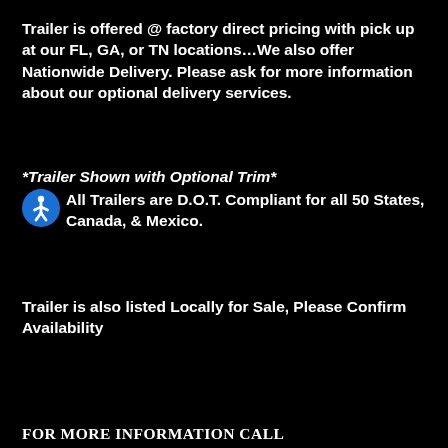Trailer is offered @ factory direct pricing with pick up at our FL, GA, or TN locations...We also offer Nationwide Delivery. Please ask for more information about our optional delivery services.
*Trailer Shown with Optional Trim*
[Figure (illustration): Blue circle accessibility icon with white figure]
All Trailers are D.O.T. Compliant for all 50 States, Canada, & Mexico.
Trailer is also listed Locally for Sale, Please Confirm Availability
FOR MORE INFORMATION CALL